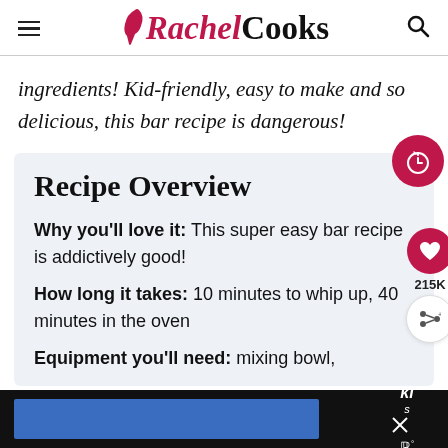Rachel Cooks
ingredients! Kid-friendly, easy to make and so delicious, this bar recipe is dangerous!
Recipe Overview
Why you’ll love it: This super easy bar recipe is addictively good!
How long it takes: 10 minutes to whip up, 40 minutes in the oven
Equipment you’ll need: mixing bowl,